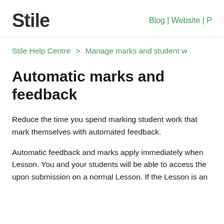Stile   Blog | Website |
Stile Help Centre > Manage marks and student w…
Automatic marks and feedback
Reduce the time you spend marking student work that mark themselves with automated feedback.
Automatic feedback and marks apply immediately when Lesson. You and your students will be able to access the upon submission on a normal Lesson. If the Lesson is an